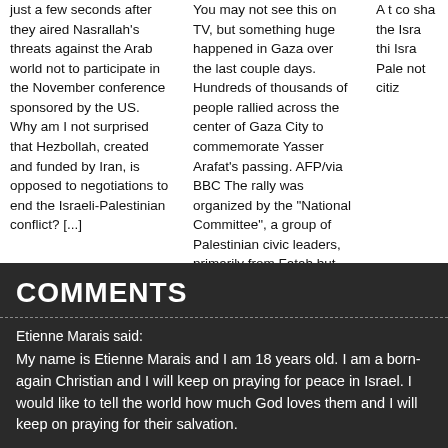just a few seconds after they aired Nasrallah's threats against the Arab world not to participate in the November conference sponsored by the US. Why am I not surprised that Hezbollah, created and funded by Iran, is opposed to negotiations to end the Israeli-Palestinian conflict? [...]
You may not see this on TV, but something huge happened in Gaza over the last couple days. Hundreds of thousands of people rallied across the center of Gaza City to commemorate Yasser Arafat's passing. AFP/via BBC The rally was organized by the "National Committee", a group of Palestinian civic leaders, primarily from Fatah but [...]
A t... co... sha... the... Isra... thi... Isra... Pale... not... citiz...
[Figure (other): Pagination dots: one filled black circle and one empty circle]
COMMENTS
Etienne Marais said: My name is Etienne Marais and I am 18 years old. I am a born-again Christian and I will keep on praying for peace in Israel. I would like to tell the world how much God loves them and I will keep on praying for their salvation.